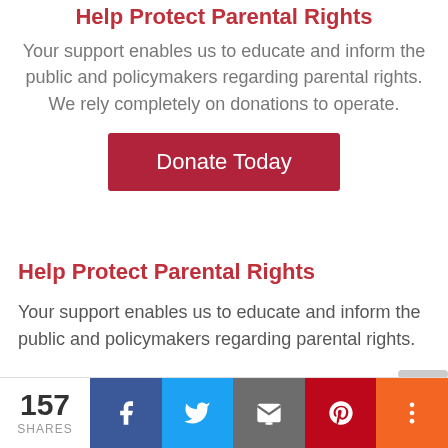Help Protect Parental Rights
Your support enables us to educate and inform the public and policymakers regarding parental rights. We rely completely on donations to operate.
[Figure (other): Donate Today button — dark red/crimson rectangle with white text]
Help Protect Parental Rights
Your support enables us to educate and inform the public and policymakers regarding parental rights.
157 SHARES | Facebook | Twitter | Email | Pinterest | More